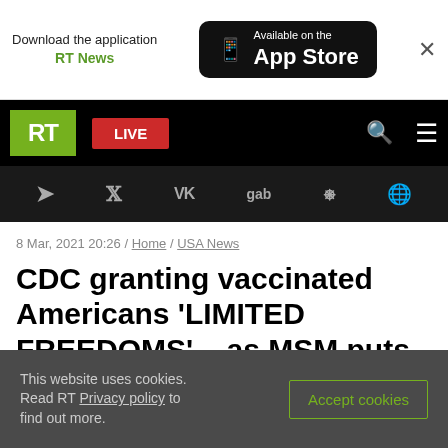[Figure (screenshot): App Store download banner with RT News branding]
[Figure (logo): RT logo and navigation bar with LIVE button, search and menu icons]
[Figure (screenshot): Social media icon bar: Telegram, Twitter, VK, gab, Rumble, globe]
8 Mar, 2021 20:26 / Home / USA News
CDC granting vaccinated Americans ‘LIMITED FREEDOMS’ – as MSM puts it – met with claims of government overreach
This website uses cookies. Read RT Privacy policy to find out more.